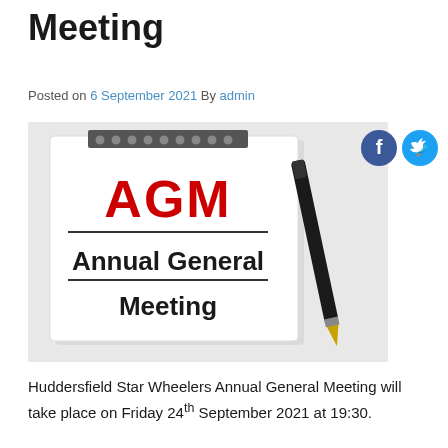Meeting
Posted on 6 September 2021 By admin
[Figure (photo): A spiral-bound notebook open to a page showing 'AGM' in large red bold text with a black underline, and below it 'Annual General Meeting' in large bold black text, with a black and gold ballpoint pen resting beside the notebook on a white surface.]
Huddersfield Star Wheelers Annual General Meeting will take place on Friday 24th September 2021 at 19:30.